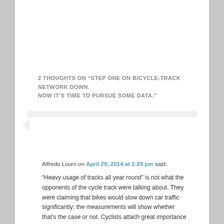2 THOUGHTS ON “STEP ONE ON BICYCLE-TRACK NETWORK DOWN. NOW IT’S TIME TO PURSUE SOME DATA.”
[Figure (illustration): Generic user avatar placeholder image showing a grey silhouette of a person (head and shoulders) on a grey background]
Alfredo Louro on April 29, 2014 at 1:23 pm said:
“Heavy usage of tracks all year round” is not what the opponents of the cycle track were talking about. They were claiming that bikes would slow down car traffic significantly; the measurements will show whether that’s the case or not. Cyclists attach great importance to the cycle tracks,